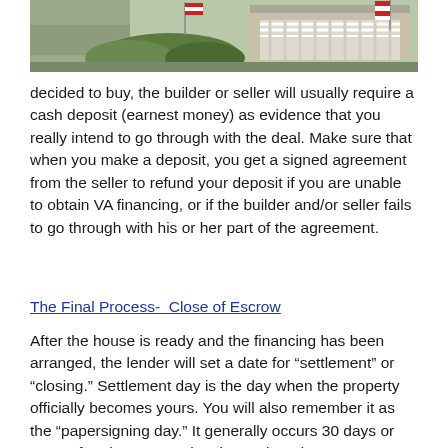[Figure (photo): Photo of a house exterior with American flags visible, bushes and fence in foreground, dark border around image]
decided to buy, the builder or seller will usually require a cash deposit (earnest money) as evidence that you really intend to go through with the deal. Make sure that when you make a deposit, you get a signed agreement from the seller to refund your deposit if you are unable to obtain VA financing, or if the builder and/or seller fails to go through with his or her part of the agreement.
The Final Process-  Close of Escrow
After the house is ready and the financing has been arranged, the lender will set a date for “settlement” or “closing.” Settlement day is the day when the property officially becomes yours. You will also remember it as the “papersigning day.” It generally occurs 30 days or more after the contract has been signed.